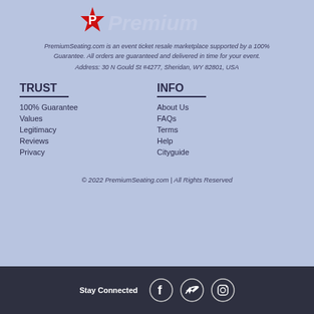[Figure (logo): PremiumSeating.com logo with red and white design]
PremiumSeating.com is an event ticket resale marketplace supported by a 100% Guarantee. All orders are guaranteed and delivered in time for your event.
Address: 30 N Gould St #4277, Sheridan, WY 82801, USA
TRUST
INFO
100% Guarantee
About Us
Values
FAQs
Legitimacy
Terms
Reviews
Help
Privacy
Cityguide
© 2022 PremiumSeating.com | All Rights Reserved
Stay Connected